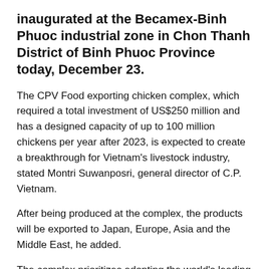inaugurated at the Becamex-Binh Phuoc industrial zone in Chon Thanh District of Binh Phuoc Province today, December 23.
The CPV Food exporting chicken complex, which required a total investment of US$250 million and has a designed capacity of up to 100 million chickens per year after 2023, is expected to create a breakthrough for Vietnam's livestock industry, stated Montri Suwanposri, general director of C.P. Vietnam.
After being produced at the complex, the products will be exported to Japan, Europe, Asia and the Middle East, he added.
The complex prioritizes adopting the world's leading advanced technologies and meeting all safety standards. The application of Artificial Intelligence and Big Data